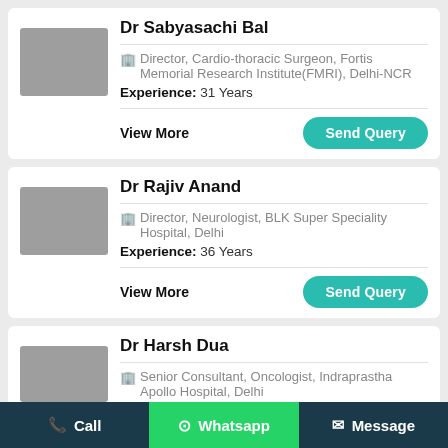Dr Sabyasachi Bal
Director, Cardio-thoracic Surgeon, Fortis Memorial Research Institute(FMRI), Delhi-NCR
Experience: 31 Years
View More
Send Query
Dr Rajiv Anand
Director, Neurologist, BLK Super Speciality Hospital, Delhi
Experience: 36 Years
View More
Send Query
Dr Harsh Dua
Senior Consultant, Oncologist, Indraprastha Apollo Hospital, Delhi
Call   Whatsapp   Message